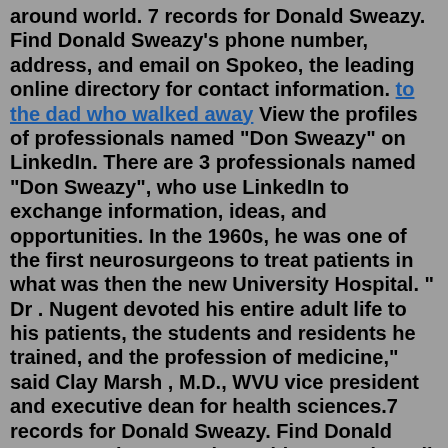around world. 7 records for Donald Sweazy. Find Donald Sweazy's phone number, address, and email on Spokeo, the leading online directory for contact information. to the dad who walked away View the profiles of professionals named "Don Sweazy" on LinkedIn. There are 3 professionals named "Don Sweazy", who use LinkedIn to exchange information, ideas, and opportunities. In the 1960s, he was one of the first neurosurgeons to treat patients in what was then the new University Hospital. " Dr . Nugent devoted his entire adult life to his patients, the students and residents he trained, and the profession of medicine," said Clay Marsh , M.D., WVU vice president and executive dean for health sciences.7 records for Donald Sweazy. Find Donald Sweazy's phone number, address, and email on Spokeo, the leading online directory for contact information. Dec 13, 2016. Local furniture maker Caleb Sweazy is taking a page from Ikea. In response to the Swedish retailer's upcoming grand opening in Memphis, Sweazy posted the following to his Facebook ...disco